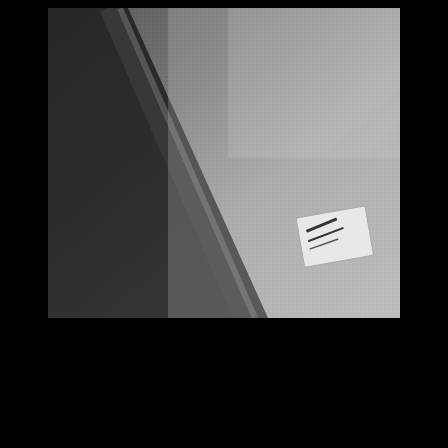[Figure (photo): Close-up macro photograph of a textured vinyl or cloth fabric material in grayscale/black-and-white tones. The fabric shows a fine woven grid texture. A diagonal fold or seam runs from upper left to center. In the lower right corner, a small white label or tag with dark text is partially visible. The image has soft focus with shallow depth of field.]
Master of Dark: Next Generation Vinyl Cloth + Innovative Materials